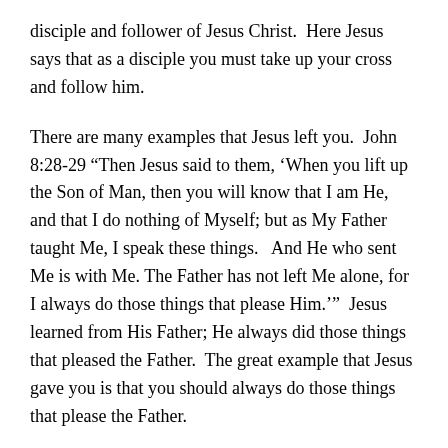disciple and follower of Jesus Christ.  Here Jesus says that as a disciple you must take up your cross and follow him.
There are many examples that Jesus left you.  John 8:28-29 “Then Jesus said to them, ‘When you lift up the Son of Man, then you will know that I am He, and that I do nothing of Myself; but as My Father taught Me, I speak these things.   And He who sent Me is with Me. The Father has not left Me alone, for I always do those things that please Him.’”  Jesus learned from His Father; He always did those things that pleased the Father.  The great example that Jesus gave you is that you should always do those things that please the Father.